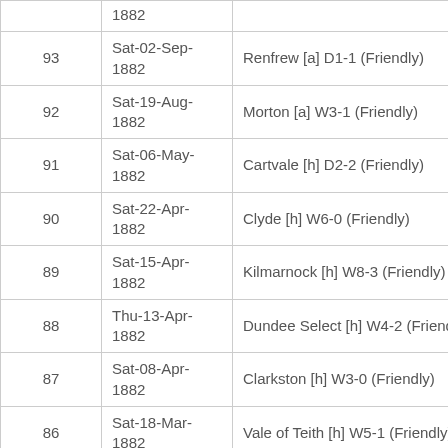| # | Date | Match |
| --- | --- | --- |
|  | 1882 |  |
| 93 | Sat-02-Sep-1882 | Renfrew [a] D1-1 (Friendly) |
| 92 | Sat-19-Aug-1882 | Morton [a] W3-1 (Friendly) |
| 91 | Sat-06-May-1882 | Cartvale [h] D2-2 (Friendly) |
| 90 | Sat-22-Apr-1882 | Clyde [h] W6-0 (Friendly) |
| 89 | Sat-15-Apr-1882 | Kilmarnock [h] W8-3 (Friendly) |
| 88 | Thu-13-Apr-1882 | Dundee Select [h] W4-2 (Friendly) |
| 87 | Sat-08-Apr-1882 | Clarkston [h] W3-0 (Friendly) |
| 86 | Sat-18-Mar-1882 | Vale of Teith [h] W5-1 (Friendly) |
| 85 | Sat-25-Mar- | Middlesbrough [a] W4-1 (Friendly) |